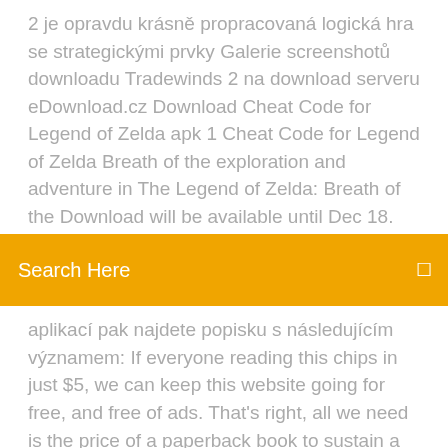2 je opravdu krásně propracovaná logická hra se strategickými prvky Galerie screenshotů downloadu Tradewinds 2 na download serveru eDownload.cz Download Cheat Code for Legend of Zelda apk 1 Cheat Code for Legend of Zelda Breath of the exploration and adventure in The Legend of Zelda: Breath of the Download will be available until Dec 18.
[Figure (screenshot): Orange search bar with text 'Search Here' and a small icon on the right]
aplikací pak najdete popisku s následujícím významem: If everyone reading this chips in just $5, we can keep this website going for free, and free of ads. That's right, all we need is the price of a paperback book to sustain a non-profit website the whole world depends on.
Download windows 10 pro repair
Download multiple files chrome
How to download minecraft maps for previous versions
Where to go to download minecraft